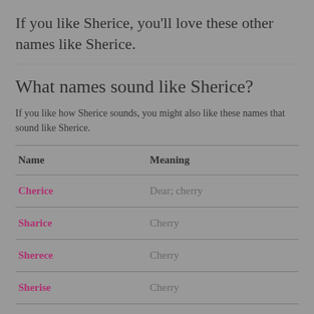If you like Sherice, you'll love these other names like Sherice.
What names sound like Sherice?
If you like how Sherice sounds, you might also like these names that sound like Sherice.
| Name | Meaning |
| --- | --- |
| Cherice | Dear; cherry |
| Sharice | Cherry |
| Sherece | Cherry |
| Sherise | Cherry |
What names are similar to Sherice?